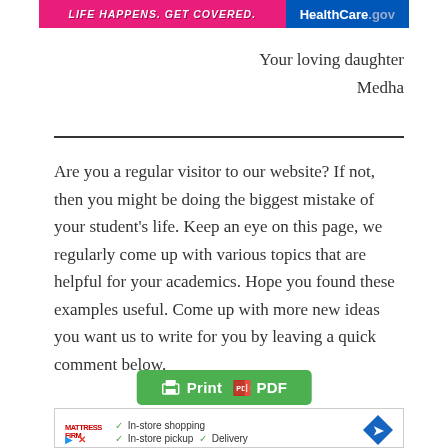[Figure (screenshot): Healthcare.gov advertisement banner: 'LIFE HAPPENS. GET COVERED.' with HealthCare.gov branding]
Your loving daughter
Medha
Are you a regular visitor to our website? If not, then you might be doing the biggest mistake of your student's life. Keep an eye on this page, we regularly come up with various topics that are helpful for your academics. Hope you found these examples useful. Come up with more new ideas you want us to write for you by leaving a quick comment below.
[Figure (screenshot): Print / PDF button (green)]
[Figure (screenshot): Mattress Firm advertisement: In-store shopping, In-store pickup, Delivery]